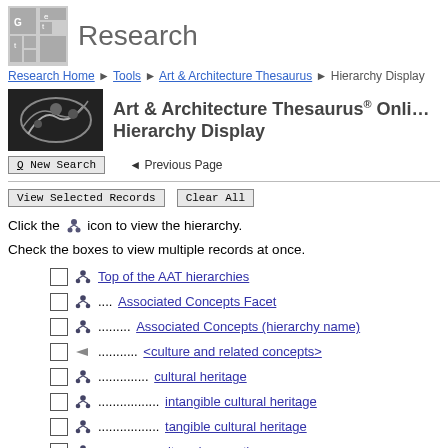Research
Research Home ▶ Tools ▶ Art & Architecture Thesaurus ▶ Hierarchy Display
Art & Architecture Thesaurus® Online Hierarchy Display
New Search   ◄ Previous Page
View Selected Records    Clear All
Click the icon to view the hierarchy.
Check the boxes to view multiple records at once.
Top of the AAT hierarchies
.... Associated Concepts Facet
......... Associated Concepts (hierarchy name)
............ <culture and related concepts>
.............. cultural heritage
................. intangible cultural heritage
................. tangible cultural heritage
.............. culture (concept)
.............. archaeological cultures